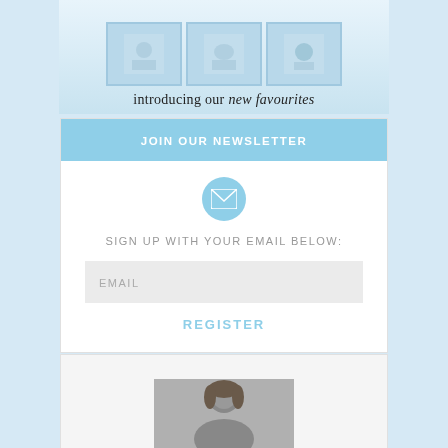[Figure (photo): Top banner showing product boxes with 'introducing our new favourites' tagline]
JOIN OUR NEWSLETTER
[Figure (illustration): Email envelope icon in a light blue circle]
SIGN UP WITH YOUR EMAIL BELOW:
EMAIL
REGISTER
[Figure (photo): Black and white portrait photo of a woman]